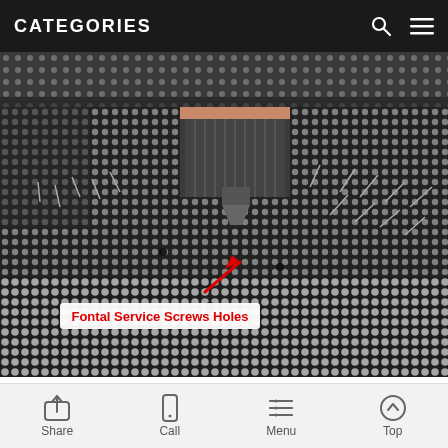CATEGORIES
[Figure (photo): Close-up photograph of an LED display panel showing a screwdriver/drill being applied to the panel surface. A red arrow annotation points to screw holes in the panel with the label 'Fontal Service Screws Holes'. The panel shows a grid pattern of LED dots/holes on a dark background.]
1 High Quality LEDs
Share  Call  Menu  Top